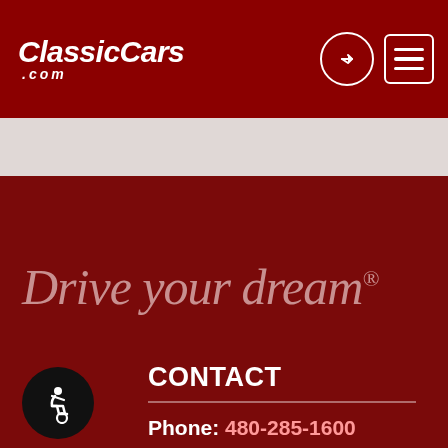ClassicCars.com
[Figure (logo): ClassicCars.com logo with login and hamburger menu icons on dark red header bar]
Drive your dream®
CONTACT
Phone: 480-285-1600